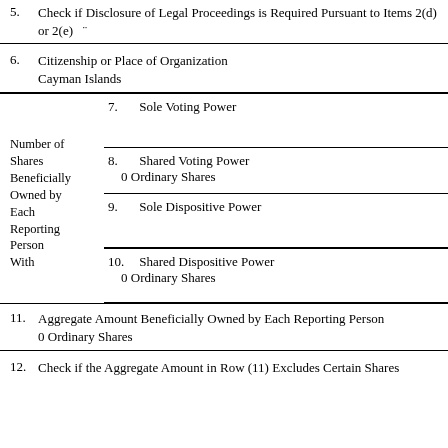5. Check if Disclosure of Legal Proceedings is Required Pursuant to Items 2(d) or 2(e)
6. Citizenship or Place of Organization
Cayman Islands
7. Sole Voting Power
8. Shared Voting Power
0 Ordinary Shares
9. Sole Dispositive Power
10. Shared Dispositive Power
0 Ordinary Shares
11. Aggregate Amount Beneficially Owned by Each Reporting Person
0 Ordinary Shares
12. Check if the Aggregate Amount in Row (11) Excludes Certain Shares